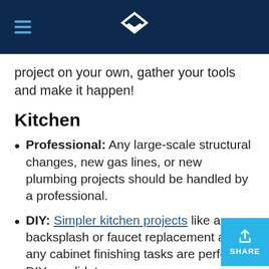[Navigation header with hamburger menu and logo]
project on your own, gather your tools and make it happen!
Kitchen
Professional: Any large-scale structural changes, new gas lines, or new plumbing projects should be handled by a professional.
DIY: Simpler kitchen projects like a backsplash or faucet replacement and any cabinet finishing tasks are perfect DIY candidates.
Bathroom